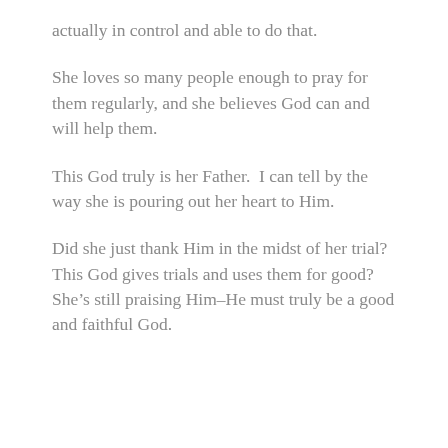actually in control and able to do that.
She loves so many people enough to pray for them regularly, and she believes God can and will help them.
This God truly is her Father.  I can tell by the way she is pouring out her heart to Him.
Did she just thank Him in the midst of her trial?  This God gives trials and uses them for good?  She’s still praising Him–He must truly be a good and faithful God.